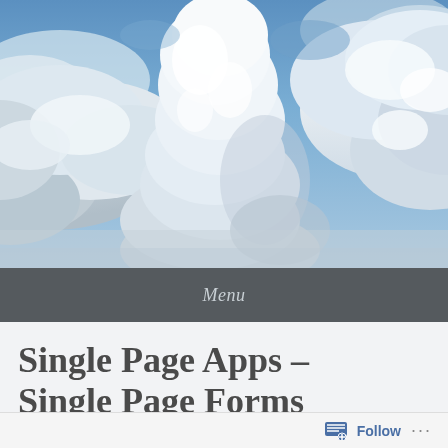[Figure (photo): Sky photograph showing large white cumulus clouds against a blue sky, taken from above or at cloud level, bright daylight.]
Menu
Single Page Apps – Single Page Forms
Follow ...